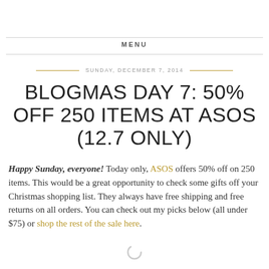MENU
SUNDAY, DECEMBER 7, 2014
BLOGMAS DAY 7: 50% OFF 250 ITEMS AT ASOS (12.7 ONLY)
Happy Sunday, everyone! Today only, ASOS offers 50% off on 250 items. This would be a great opportunity to check some gifts off your Christmas shopping list. They always have free shipping and free returns on all orders. You can check out my picks below (all under $75) or shop the rest of the sale here.